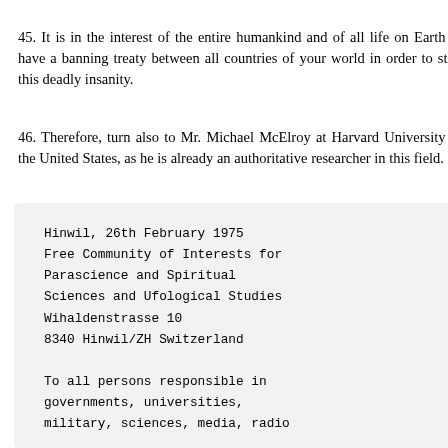45. It is in the interest of the entire humankind and of all life on Earth to have a banning treaty between all countries of your world in order to stop this deadly insanity.
46. Therefore, turn also to Mr. Michael McElroy at Harvard University in the United States, as he is already an authoritative researcher in this field.
Hinwil, 26th February 1975
Free Community of Interests for
Parascience and Spiritual
Sciences and Ufological Studies
Wihaldenstrasse 10
8340 Hinwil/ZH Switzerland

To all persons responsible in
governments, universities,
military, sciences, media, radio